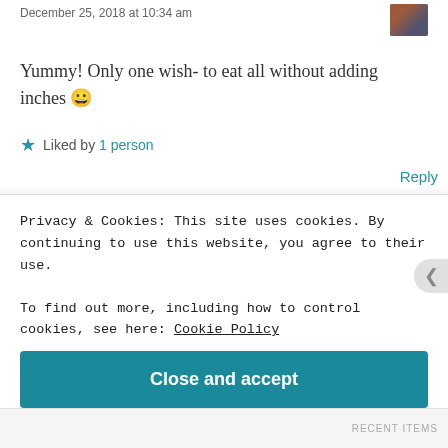December 25, 2018 at 10:34 am
Yummy! Only one wish- to eat all without adding inches 😀
Liked by 1 person
Reply
libarah
December 27, 2018 at 11:54 am
Privacy & Cookies: This site uses cookies. By continuing to use this website, you agree to their use.
To find out more, including how to control cookies, see here: Cookie Policy
Close and accept